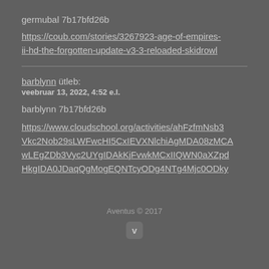germubal 7b17bfd26b
https://coub.com/stories/3267923-age-of-empires-ii-hd-the-forgotten-update-v3-3-reloaded-skidrowl
barblynn ütleb:
veebruar 13, 2022, 4:52 e.l.
barblynn 7b17bfd26b
https://www.cloudschool.org/activities/ahFzfmNsb3Vkc2Nob29sLWFwcHI5CxIEVXNlchiAgMDA08zMCAwLEgZDb3Vyc2UYgIDAkKjFvwkMCxIIQWN0aXZpdHkgIDA0JDaqQgMogEQNTcyODg4NTg4Mjc0ODky
Aventus © 2017